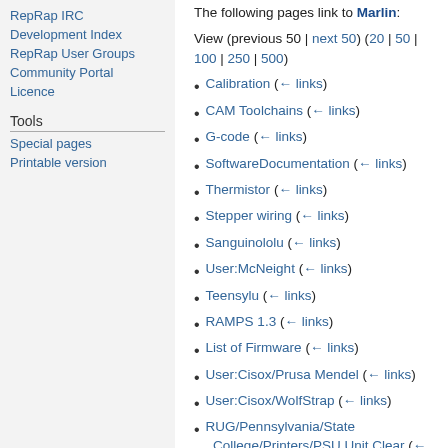RepRap IRC
Development Index
RepRap User Groups
Community Portal
Licence
Tools
Special pages
Printable version
The following pages link to Marlin:
View (previous 50 | next 50) (20 | 50 | 100 | 250 | 500)
Calibration  (← links)
CAM Toolchains  (← links)
G-code  (← links)
SoftwareDocumentation  (← links)
Thermistor  (← links)
Stepper wiring  (← links)
Sanguinololu  (← links)
User:McNeight  (← links)
Teensylu  (← links)
RAMPS 1.3  (← links)
List of Firmware  (← links)
User:Cisox/Prusa Mendel  (← links)
User:Cisox/WolfStrap  (← links)
RUG/Pennsylvania/State College/Printers/PSU Unit Clear  (←